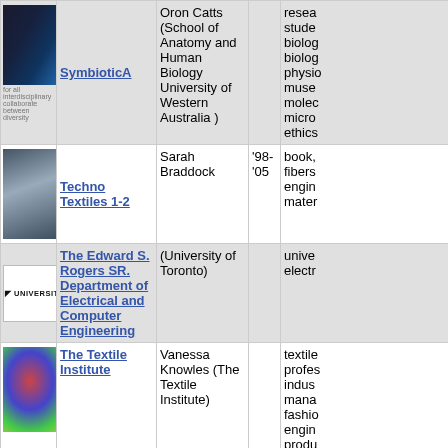| Image | Link | Author | Year | Description |
| --- | --- | --- | --- | --- |
| [SymbioticA image] | SymbioticA | Oron Catts (School of Anatomy and Human Biology University of Western Australia ) |  | research, students, biology, biology, physiology, museum, molecular, micro, ethics |
| [Techno Textiles image] | Techno Textiles 1-2 | Sarah Braddock | '98-'05 | book, fibers, engineering, materials |
| [University of Toronto logo] | The Edward S. Rogers SR. Department of Electrical and Computer Engineering | (University of Toronto) |  | university, electrical |
| [Textile Institute image] | The Textile Institute | Vanessa Knowles (The Textile Institute) |  | textile, professionals, industry, management, fashion, engineering, production, retailing, communication, production |
| [MIT Media image] | Things That | (MIT Media |  | augmented |